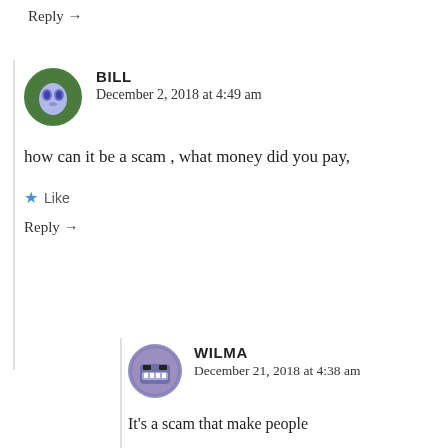Reply →
BILL
December 2, 2018 at 4:49 am
how can it be a scam , what money did you pay,
★ Like
Reply →
WILMA
December 21, 2018 at 4:38 am
It's a scam that make people